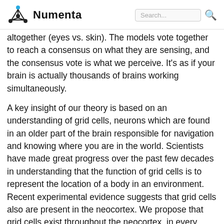Numenta
altogether (eyes vs. skin). The models vote together to reach a consensus on what they are sensing, and the consensus vote is what we perceive. It's as if your brain is actually thousands of brains working simultaneously.
A key insight of our theory is based on an understanding of grid cells, neurons which are found in an older part of the brain responsible for navigation and knowing where you are in the world. Scientists have made great progress over the past few decades in understanding that the function of grid cells is to represent the location of a body in an environment. Recent experimental evidence suggests that grid cells also are present in the neocortex. We propose that grid cells exist throughout the neocortex, in every region and in every cortical column, and that they define a